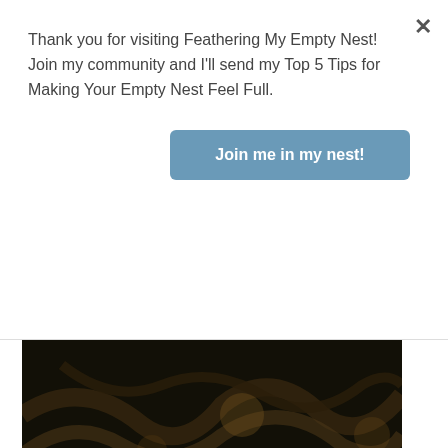Thank you for visiting Feathering My Empty Nest! Join my community and I'll send my Top 5 Tips for Making Your Empty Nest Feel Full.
Join me in my nest!
[Figure (photo): Dark macro photo showing intertwined twigs or nest materials with warm amber tones against a black background]
My Mother's Day
May 12, 2016
When you are spending time with the people you love, any day is a day to celebrate. ... More